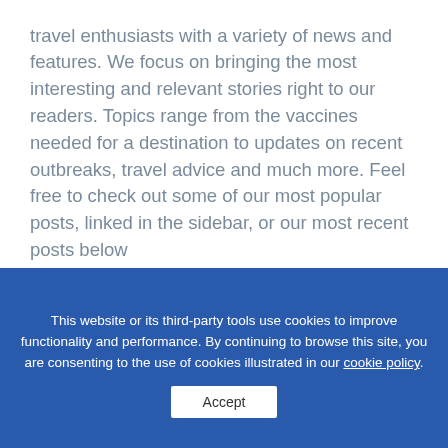travel enthusiasts with a variety of news and features. We focus on bringing the most interesting and relevant stories right to our readers. Topics range from the vaccines needed for a destination to updates on recent outbreaks, travel advice and much more. Feel free to check out some of our most popular posts, linked in the sidebar, or our most recent posts below
Stay Updated! Sign up to receive email updates
This website or its third-party tools use cookies to improve functionality and performance. By continuing to browse this site, you are consenting to the use of cookies illustrated in our cookie policy.